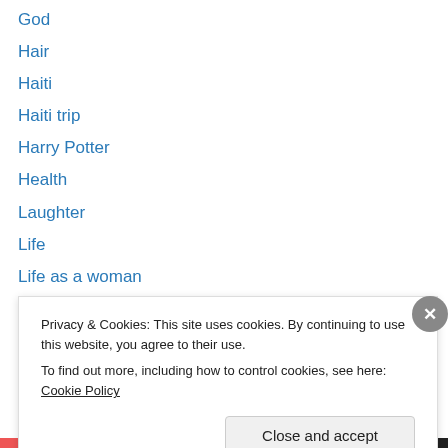God
Hair
Haiti
Haiti trip
Harry Potter
Health
Laughter
Life
Life as a woman
Loss
Marriage
Mehaber
Michigan Living
Privacy & Cookies: This site uses cookies. By continuing to use this website, you agree to their use.
To find out more, including how to control cookies, see here: Cookie Policy
Close and accept